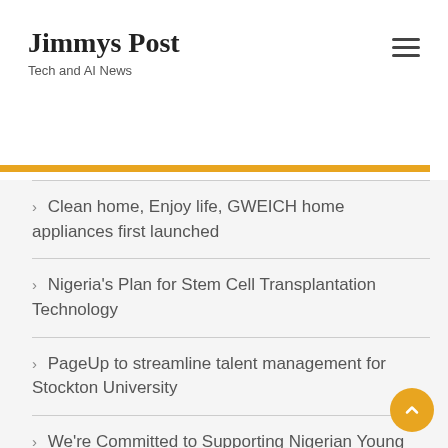Jimmys Post
Tech and AI News
Clean home, Enjoy life, GWEICH home appliances first launched
Nigeria's Plan for Stem Cell Transplantation Technology
PageUp to streamline talent management for Stockton University
We're Committed to Supporting Nigerian Young Innovators – DG NITDA